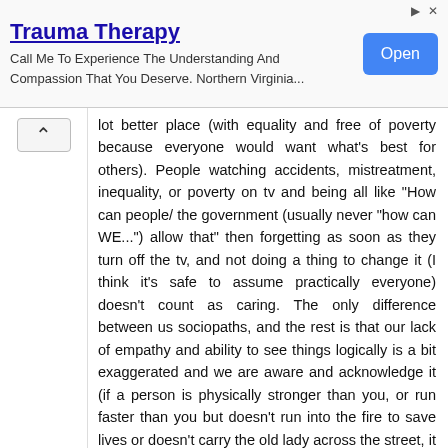[Figure (screenshot): Advertisement banner for Trauma Therapy service with title, description, and Open button]
lot better place (with equality and free of poverty because everyone would want what's best for others). People watching accidents, mistreatment, inequality, or poverty on tv and being all like "How can people/ the government (usually never "how can WE...") allow that" then forgetting as soon as they turn off the tv, and not doing a thing to change it (I think it's safe to assume practically everyone) doesn't count as caring. The only difference between us sociopaths, and the rest is that our lack of empathy and ability to see things logically is a bit exaggerated and we are aware and acknowledge it (if a person is physically stronger than you, or run faster than you but doesn't run into the fire to save lives or doesn't carry the old lady across the street, it doesn't mean that they are a bad